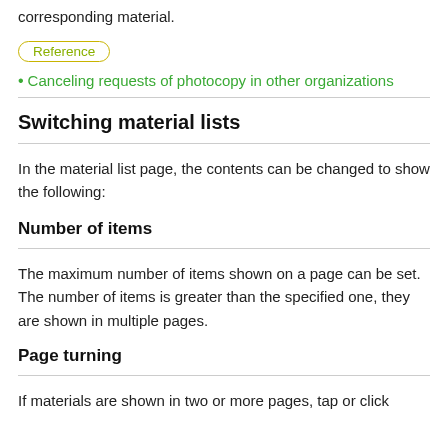corresponding material.
[Figure (other): Reference badge button with yellow-green border and text]
Canceling requests of photocopy in other organizations
Switching material lists
In the material list page, the contents can be changed to show the following:
Number of items
The maximum number of items shown on a page can be set. The number of items is greater than the specified one, they are shown in multiple pages.
Page turning
If materials are shown in two or more pages, tap or click